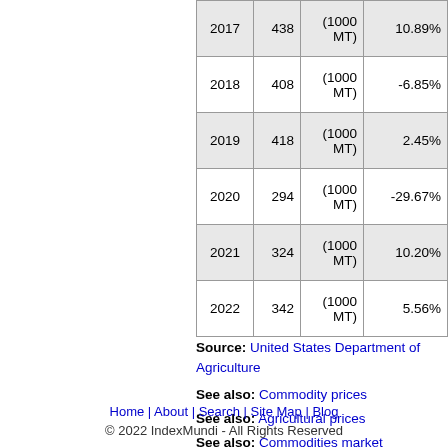| Year | Value | Unit | Change |
| --- | --- | --- | --- |
| 2017 | 438 | (1000 MT) | 10.89% |
| 2018 | 408 | (1000 MT) | -6.85% |
| 2019 | 418 | (1000 MT) | 2.45% |
| 2020 | 294 | (1000 MT) | -29.67% |
| 2021 | 324 | (1000 MT) | 10.20% |
| 2022 | 342 | (1000 MT) | 5.56% |
Source: United States Department of Agriculture
See also: Commodity prices
See also: Agricultural prices
See also: Commodities market
Home | About | Search | Site Map | Blog
© 2022 IndexMundi - All Rights Reserved